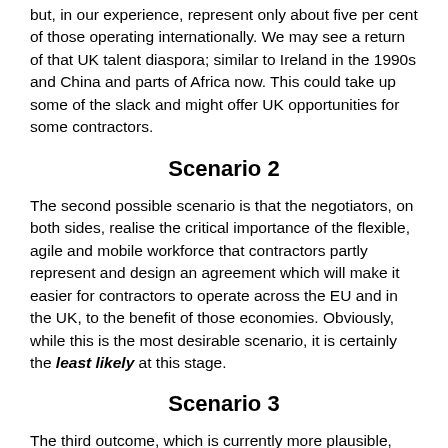but, in our experience, represent only about five per cent of those operating internationally. We may see a return of that UK talent diaspora; similar to Ireland in the 1990s and China and parts of Africa now. This could take up some of the slack and might offer UK opportunities for some contractors.
Scenario 2
The second possible scenario is that the negotiators, on both sides, realise the critical importance of the flexible, agile and mobile workforce that contractors partly represent and design an agreement which will make it easier for contractors to operate across the EU and in the UK, to the benefit of those economies. Obviously, while this is the most desirable scenario, it is certainly the least likely at this stage.
Scenario 3
The third outcome, which is currently more plausible, requires envisaging the situation post-transition in, say, May 2021, with an election due in a year. At the heart of